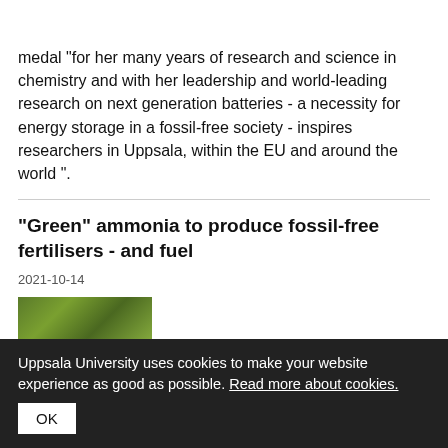≡ Menu
medal "for her many years of research and science in chemistry and with her leadership and world-leading research on next generation batteries - a necessity for energy storage in a fossil-free society - inspires researchers in Uppsala, within the EU and around the world ".
"Green" ammonia to produce fossil-free fertilisers - and fuel
2021-10-14
[Figure (photo): Green plants photograph, partial view]
Uppsala University uses cookies to make your website experience as good as possible. Read more about cookies.